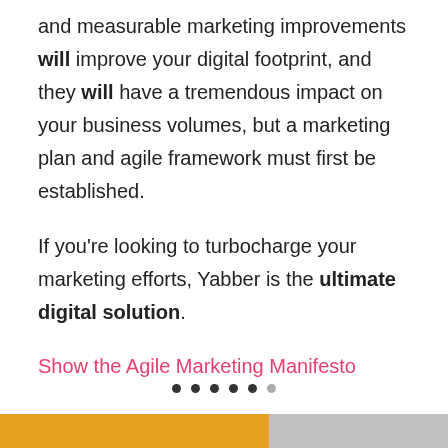and measurable marketing improvements will improve your digital footprint, and they will have a tremendous impact on your business volumes, but a marketing plan and agile framework must first be established.

If you're looking to turbocharge your marketing efforts, Yabber is the ultimate digital solution.
Show the Agile Marketing Manifesto